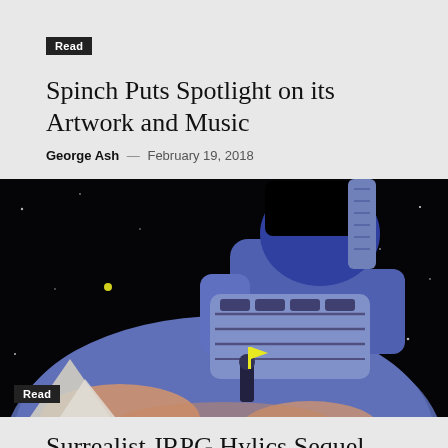Read
Spinch Puts Spotlight on its Artwork and Music
George Ash — February 19, 2018
[Figure (illustration): Colorful game artwork showing a large stylized figure holding a music device, standing on a planet in space, with a small character in the background. Dark space background with stars and white dots.]
Read
Surrealist JRPG Hylics Sequel Looks Mind-Bendingly Weird
Kyle Rogacion — January 18, 2018